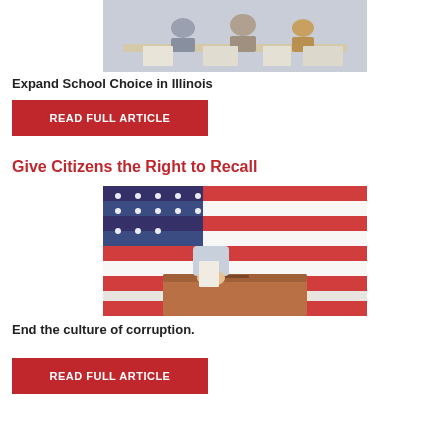[Figure (photo): People sitting around a table with papers and books, classroom or meeting setting]
Expand School Choice in Illinois
READ FULL ARTICLE
Give Citizens the Right to Recall
[Figure (photo): A hand inserting a ballot into a ballot box with an American flag in the background]
End the culture of corruption.
READ FULL ARTICLE